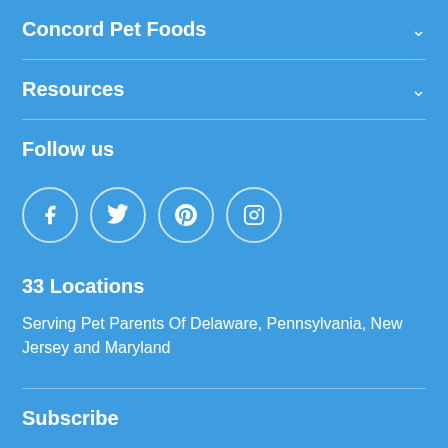Concord Pet Foods
Resources
Follow us
[Figure (other): Social media icons: Facebook, Twitter, Pinterest, Instagram in circular outlines]
33 Locations
Serving Pet Parents Of Delaware, Pennsylvania, New Jersey and Maryland
Subscribe